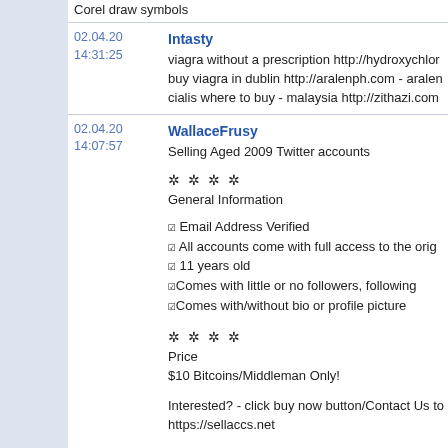Corel draw symbols
02.04.20 14:31:25
Intasty
viagra without a prescription http://hydroxychlor... buy viagra in dublin http://aralenph.com - aralen... cialis where to buy - malaysia http://zithazi.com
02.04.20 14:07:57
WallaceFrusy
Selling Aged 2009 Twitter accounts
**** General Information
✓ Email Address Verified
✓ All accounts come with full access to the orig
✓ 11 years old
✓Comes with little or no followers, following
✓Comes with/without bio or profile picture
**** Price
$10 Bitcoins/Middleman Only!
Interested? - click buy now button/Contact Us to https://sellaccs.net
Skype & Telegram : congmmo
ICQ : @652720497
Email : congmmo@gmail . com